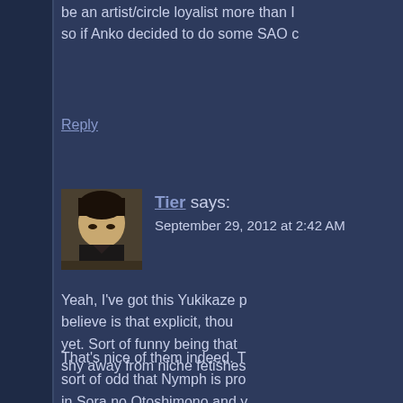be an artist/circle loyalist more than I so if Anko decided to do some SAO c
Reply
Tier says: September 29, 2012 at 2:42 AM
[Figure (photo): Avatar image of user Tier showing a person with short dark hair looking downward]
Yeah, I've got this Yukikaze p believe is that explicit, thou yet. Sort of funny being that shy away from niche fetishes
That's nice of them indeed. T sort of odd that Nymph is pro in Sora no Otoshimono and y merchandise. Too bad it look making a figure of her to go w couple years ago.